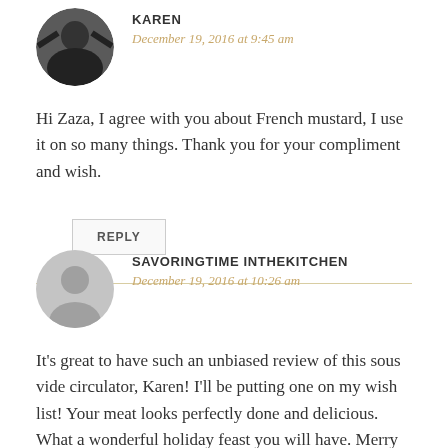[Figure (photo): Circular avatar photo of Karen, a person in dark coat with arms outstretched]
KAREN
December 19, 2016 at 9:45 am
Hi Zaza, I agree with you about French mustard, I use it on so many things. Thank you for your compliment and wish.
REPLY
[Figure (photo): Circular gray default avatar silhouette for SavoringTime InTheKitchen]
SAVORINGTIME INTHEKITCHEN
December 19, 2016 at 10:26 am
It's great to have such an unbiased review of this sous vide circulator, Karen! I'll be putting one on my wish list! Your meat looks perfectly done and delicious. What a wonderful holiday feast you will have. Merry Christmas to you and your family, Karen!